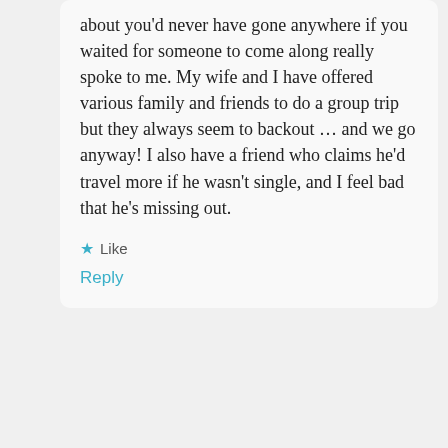about you'd never have gone anywhere if you waited for someone to come along really spoke to me. My wife and I have offered various family and friends to do a group trip but they always seem to backout … and we go anyway! I also have a friend who claims he'd travel more if he wasn't single, and I feel bad that he's missing out.
Like
Reply
[Figure (logo): Pink snowflake/star logo for Sheisnotlost]
Sheisnotlost
2017-03-19 at 17:18